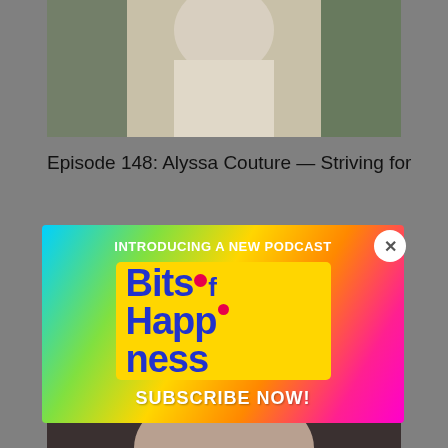[Figure (photo): Partial view of a person outdoors with green grass background]
Episode 148: Alyssa Couture — Striving for
[Figure (infographic): Popup advertisement banner with rainbow gradient background. Text reads: INTRODUCING A NEW PODCAST. Logo: Bits.of Happiness with yellow card background and blue text. Bottom text: SUBSCRIBE NOW! Close X button in top right corner.]
[Figure (photo): Portrait of a woman with dark hair against a light background]